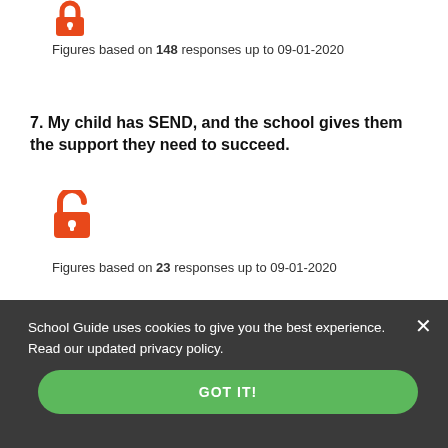[Figure (illustration): Orange padlock icon (locked) at the top of the page]
Figures based on 148 responses up to 09-01-2020
7. My child has SEND, and the school gives them the support they need to succeed.
[Figure (illustration): Orange padlock icon (unlocked) indicating restricted data]
Figures based on 23 responses up to 09-01-2020
School Guide uses cookies to give you the best experience. Read our updated privacy policy.
GOT IT!